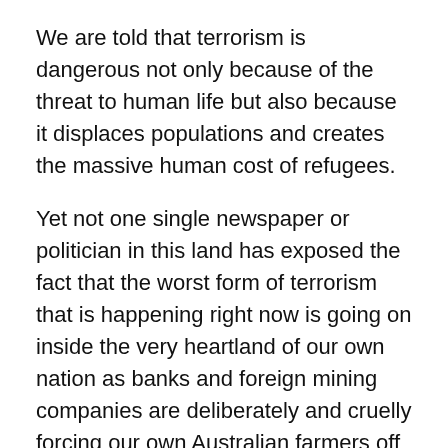We are told that terrorism is dangerous not only because of the threat to human life but also because it displaces populations and creates the massive human cost of refugees.
Yet not one single newspaper or politician in this land has exposed the fact that the worst form of terrorism that is happening right now is going on inside the very heartland of our own nation as banks and foreign mining companies are deliberately and cruelly forcing our own Australian farmers off the land.
What we saw in the main hall of the Winton Shire Council on Friday simply defied all description: a room filled with hundreds of broken and battered refuges from our own country. It was a scene more tragic and traumatic than a dozen desperate funerals all laced onto the one stage.